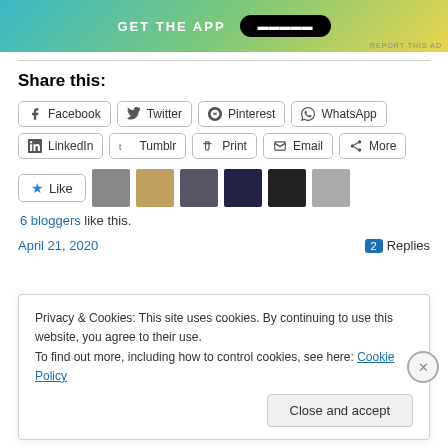[Figure (screenshot): App advertisement banner with 'GET THE APP' text and download button on gradient background]
Share this:
Facebook  Twitter  Pinterest  WhatsApp  LinkedIn  Tumblr  Print  Email  More
Like  6 bloggers like this.
April 21, 2020  2 Replies
Privacy & Cookies: This site uses cookies. By continuing to use this website, you agree to their use. To find out more, including how to control cookies, see here: Cookie Policy
Close and accept